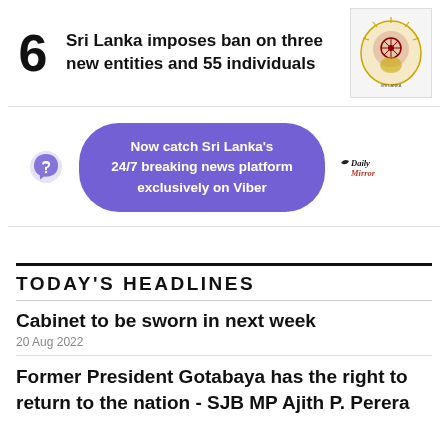6 Sri Lanka imposes ban on three new entities and 55 individuals
[Figure (logo): Sri Lanka government emblem/crest logo]
[Figure (infographic): Viber promotion banner: Now catch Sri Lanka's 24/7 breaking news platform exclusively on Viber, with Viber icon and Daily Mirror logo]
TODAY'S HEADLINES
Cabinet to be sworn in next week
20 Aug 2022
Former President Gotabaya has the right to return to the nation - SJB MP Ajith P. Perera